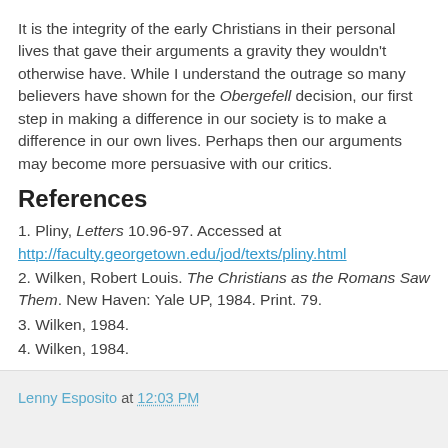It is the integrity of the early Christians in their personal lives that gave their arguments a gravity they wouldn't otherwise have. While I understand the outrage so many believers have shown for the Obergefell decision, our first step in making a difference in our society is to make a difference in our own lives. Perhaps then our arguments may become more persuasive with our critics.
References
1. Pliny, Letters 10.96-97. Accessed at http://faculty.georgetown.edu/jod/texts/pliny.html
2. Wilken, Robert Louis. The Christians as the Romans Saw Them. New Haven: Yale UP, 1984. Print. 79.
3. Wilken, 1984.
4. Wilken, 1984.
Image courtesy Nick Thompson and licensed via the Creative Commons Attribution-NonCommercial-ShareAlike 2.0 Generic (CC BY-NC-SA 2.0) License
Lenny Esposito at 12:03 PM